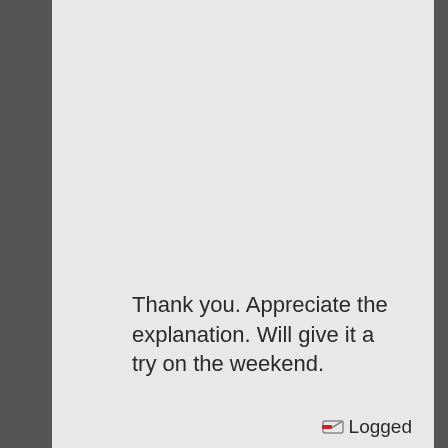and higher sensitivity. I would still recommend you utilize your mouse's highest given "Native" dpi. Unless you have some reason not to, as I do. You can use the Dpi calculator that Pro mentioned if you want to try and match my settings. BTW, thanks for that pro, it's a great tool!
Thank you. Appreciate the explanation. Will give it a try on the weekend.
Logged